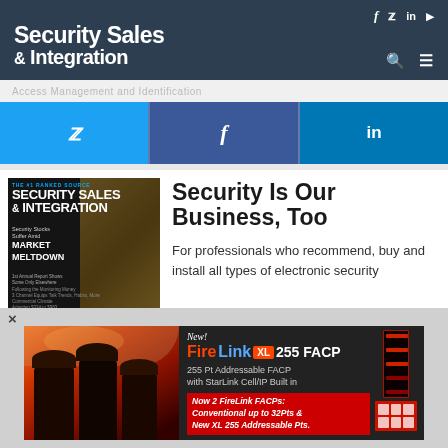Security Sales & Integration
[Figure (screenshot): Social share buttons: Twitter (blue), Facebook (dark blue), LinkedIn (blue)]
[Figure (photo): Security Sales & Integration magazine cover showing money/cash with headline 'Security Stocks Suffer Amid MARKET MELTDOWN']
Security Is Our Business, Too
For professionals who recommend, buy and install all types of electronic security
[Figure (photo): Advertisement: FireLink XL 255 FACP - 255 Pt Addressable FACP with StarLink Cell/IP Built in. Now 2 FireLink FACPs: Conventional up to 32Pts & New XL 255 Addressable Pts. Shows firefighters and red fire alarm panel device.]